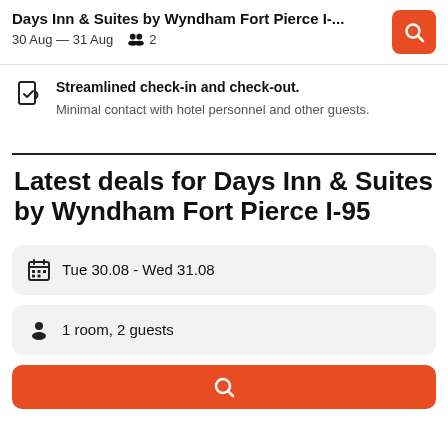Days Inn & Suites by Wyndham Fort Pierce I-... 30 Aug — 31 Aug  2
Streamlined check-in and check-out. Minimal contact with hotel personnel and other guests.
Latest deals for Days Inn & Suites by Wyndham Fort Pierce I-95
Tue 30.08  -  Wed 31.08
1 room, 2 guests